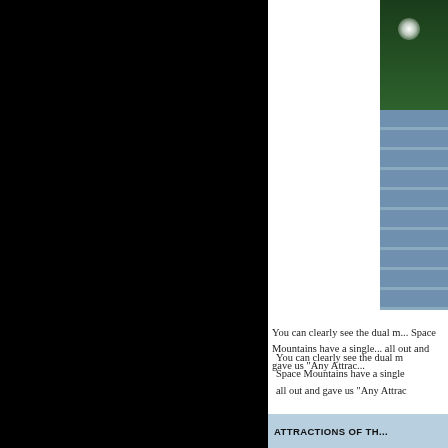[Figure (photo): Photo of a person or scene near steps/stairs with a bright glare, partially cropped at the right edge of the page]
You can clearly see the dual m... Space Mountains have a single... all out and gave us "Any Attrac...
After working for five hours, I m... lines were short, we decided to... Everest, this new ride is very w... a centrifuge. Kind of like a gia... What's funny is that this ride ha... every seat! How cool is that? I... didn't get sick at all, but was a... Showcase) was good, and we... Energy Adventure was on last-...
ATTRACTIONS OF TH...